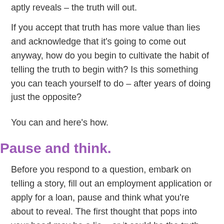aptly reveals – the truth will out.
If you accept that truth has more value than lies and acknowledge that it's going to come out anyway, how do you begin to cultivate the habit of telling the truth to begin with? Is this something you can teach yourself to do – after years of doing just the opposite?
You can and here's how.
Pause and think.
Before you respond to a question, embark on telling a story, fill out an employment application or apply for a loan, pause and think what you're about to reveal. The first thought that pops into your head may be a lie – or it could be the truth, which you quickly push aside. You'll know whether it's truth or lie.